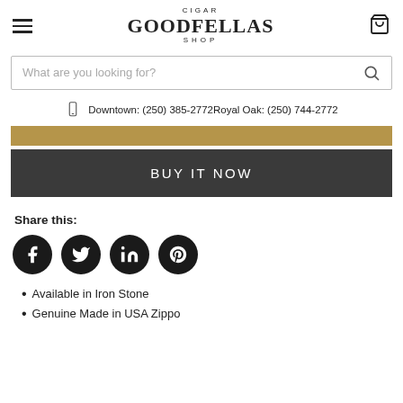CIGAR GOODFELLAS SHOP
What are you looking for?
Downtown: (250) 385-2772Royal Oak: (250) 744-2772
BUY IT NOW
Share this:
[Figure (other): Social sharing icons: Facebook, Twitter, LinkedIn, Pinterest]
Available in Iron Stone
Genuine Made in USA Zippo